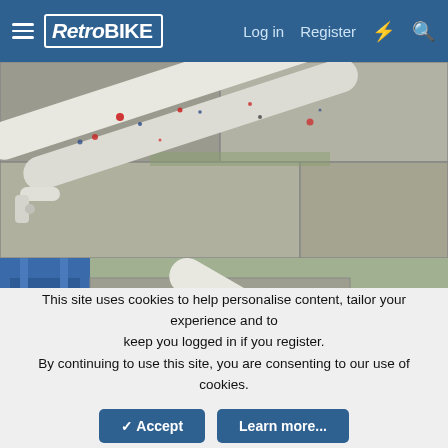RetroBIKE — Log in  Register
[Figure (photo): Close-up of white bicycle forks with red, blue and dark paint splatter pattern, resting on a stone paved surface with green moss]
[Figure (photo): White bicycle frame with colourful splatter paint and 'DIANA' lettering on the top tube, photographed outdoors with blue wooden structure, red watering can, and grass in background]
This site uses cookies to help personalise content, tailor your experience and to keep you logged in if you register.
By continuing to use this site, you are consenting to our use of cookies.